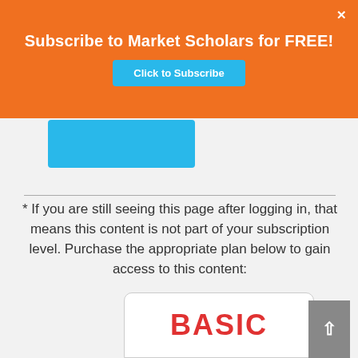Subscribe to Market Scholars for FREE!
Click to Subscribe
[Figure (other): Partial blue button visible below orange banner]
* If you are still seeing this page after logging in, that means this content is not part of your subscription level. Purchase the appropriate plan below to gain access to this content:
BASIC